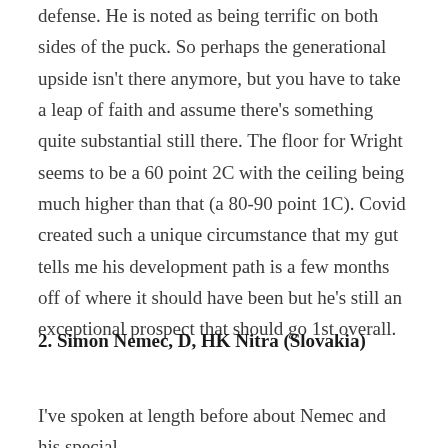defense. He is noted as being terrific on both sides of the puck. So perhaps the generational upside isn't there anymore, but you have to take a leap of faith and assume there's something quite substantial still there. The floor for Wright seems to be a 60 point 2C with the ceiling being much higher than that (a 80-90 point 1C). Covid created such a unique circumstance that my gut tells me his development path is a few months off of where it should have been but he's still an exceptional prospect that should go 1st overall.
2. Simon Nemec, D, HK Nitra (Slovakia)
I've spoken at length before about Nemec and his special